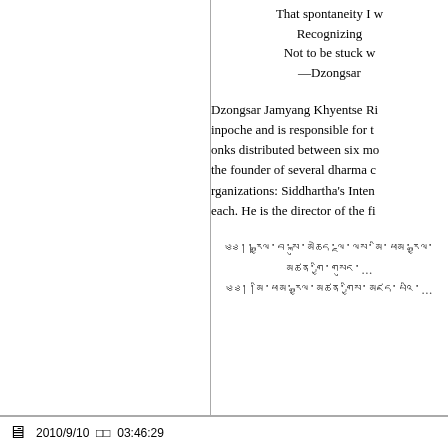That spontaneity I w
Recognizing
Not to be stuck w
—Dzongsar
Dzongsar Jamyang Khyentse Ri
inpoche and is responsible for t
onks distributed between six mo
the founder of several dharma c
rganizations: Siddhartha's Inten
each. He is the director of the fi
༄༅།།རྒྱལ་བ་སྐུ་མཆེད་ལྔ་ལས་མི་ཕམ་རྒྱལ་མཚན་གྱི་གསུང་...
༄༅།།མི་ཕམ་རྒྱལ་མཚན་གྱིས་མཛད་པའི...
2010/9/10  03:46:29